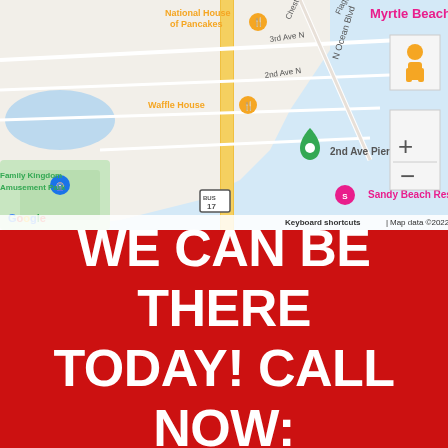[Figure (map): Google Maps screenshot showing Myrtle Beach area including National House of Pancakes, Waffle House, 2nd Ave Pier, Sandy Beach Resort, Family Kingdom Amusement Park. Shows N Ocean Blvd, 3rd Ave N, 2nd Ave N, Flagg St, Chester St. Map data ©2022. Includes zoom controls and street view icon.]
WE CAN BE THERE TODAY! CALL NOW: